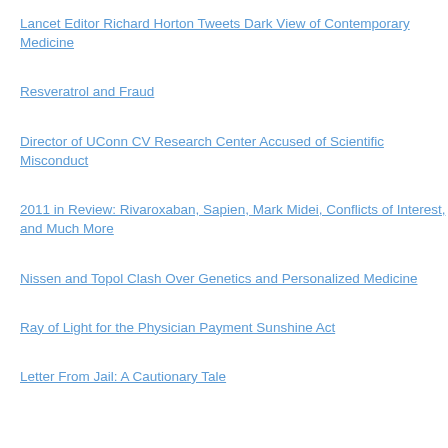Lancet Editor Richard Horton Tweets Dark View of Contemporary Medicine
Resveratrol and Fraud
Director of UConn CV Research Center Accused of Scientific Misconduct
2011 in Review: Rivaroxaban, Sapien, Mark Midei, Conflicts of Interest, and Much More
Nissen and Topol Clash Over Genetics and Personalized Medicine
Ray of Light for the Physician Payment Sunshine Act
Letter From Jail: A Cautionary Tale